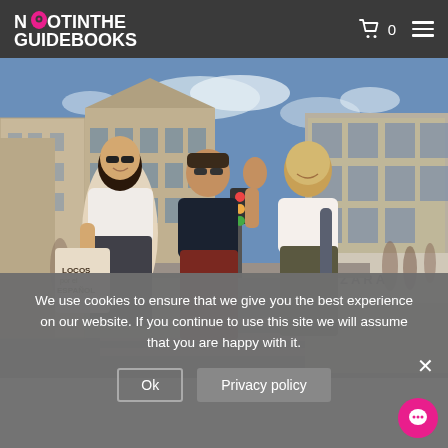Not In The Guidebooks — Navigation header with logo, cart icon (0), and hamburger menu
[Figure (photo): Three young people (two women and one man) walking and smiling on a busy urban street with tall ornate buildings. The man in the center is waving. One woman carries a tote bag reading 'LOCOS por el ESPAÑOL'. A ZARA store is visible in the background.]
We use cookies to ensure that we give you the best experience on our website. If you continue to use this site we will assume that you are happy with it.
Ok    Privacy policy